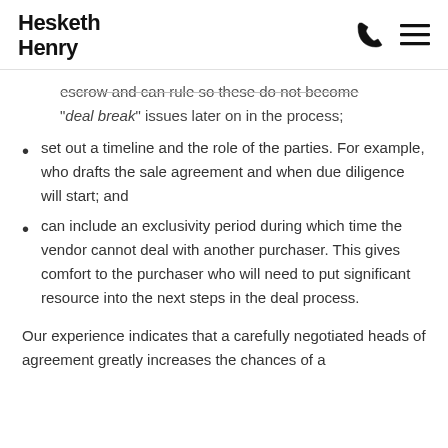Hesketh Henry
escrow and can rule so these do not become "deal break" issues later on in the process;
set out a timeline and the role of the parties. For example, who drafts the sale agreement and when due diligence will start; and
can include an exclusivity period during which time the vendor cannot deal with another purchaser. This gives comfort to the purchaser who will need to put significant resource into the next steps in the deal process.
Our experience indicates that a carefully negotiated heads of agreement greatly increases the chances of a